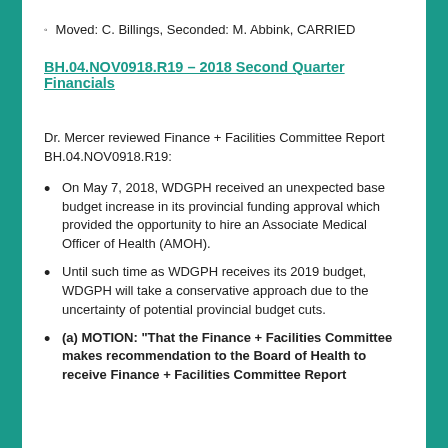Moved: C. Billings, Seconded: M. Abbink, CARRIED
BH.04.NOV0918.R19 – 2018 Second Quarter Financials
Dr. Mercer reviewed Finance + Facilities Committee Report BH.04.NOV0918.R19:
On May 7, 2018, WDGPH received an unexpected base budget increase in its provincial funding approval which provided the opportunity to hire an Associate Medical Officer of Health (AMOH).
Until such time as WDGPH receives its 2019 budget, WDGPH will take a conservative approach due to the uncertainty of potential provincial budget cuts.
(a) MOTION: "That the Finance + Facilities Committee makes recommendation to the Board of Health to receive Finance + Facilities Committee Report